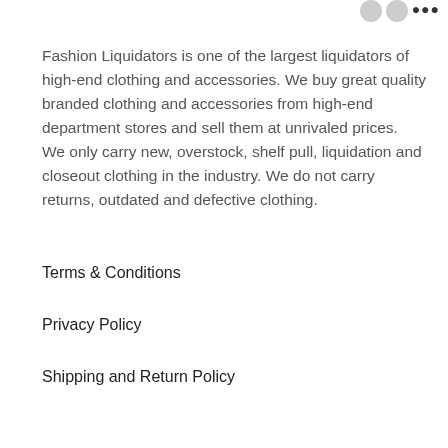Fashion Liquidators is one of the largest liquidators of high-end clothing and accessories. We buy great quality branded clothing and accessories from high-end department stores and sell them at unrivaled prices.  We only carry new, overstock, shelf pull, liquidation and closeout clothing in the industry. We do not carry returns, outdated and defective clothing.
Terms & Conditions
Privacy Policy
Shipping and Return Policy